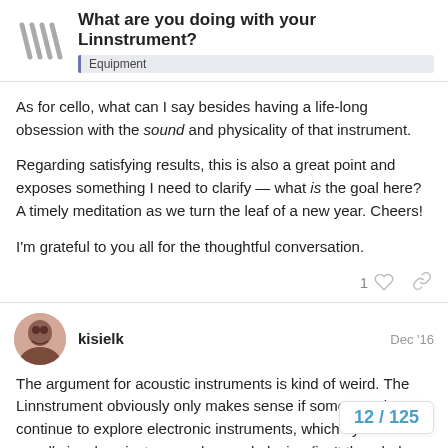What are you doing with your Linnstrument? | Equipment
As for cello, what can I say besides having a life-long obsession with the sound and physicality of that instrument.
Regarding satisfying results, this is also a great point and exposes something I need to clarify — what is the goal here? A timely meditation as we turn the leaf of a new year. Cheers!
I'm grateful to you all for the thoughtful conversation.
kisielk Dec '16
The argument for acoustic instruments is kind of weird. The Linnstrument obviously only makes sense if someone plans to continue to explore electronic instruments, which by its nature usually involves just as much sound playing (isn't the whole point of synth...